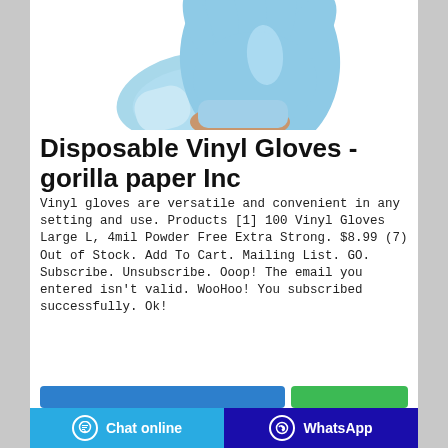[Figure (photo): Photo of blue disposable vinyl gloves being put on hands, on white background]
Disposable Vinyl Gloves - gorilla paper Inc
Vinyl gloves are versatile and convenient in any setting and use. Products [1] 100 Vinyl Gloves Large L, 4mil Powder Free Extra Strong. $8.99 (7) Out of Stock. Add To Cart. Mailing List. GO. Subscribe. Unsubscribe. Ooop! The email you entered isn't valid. WooHoo! You subscribed successfully. Ok!
Chat online | WhatsApp